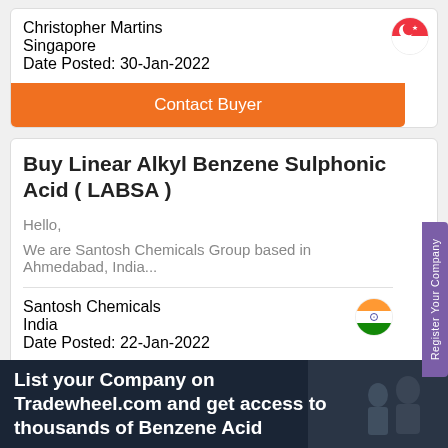Christopher Martins
Singapore
Date Posted: 30-Jan-2022
Contact Buyer
Buy Linear Alkyl Benzene Sulphonic Acid ( LABSA )
Hello,
We are Santosh Chemicals Group based in Ahmedabad, India...
Santosh Chemicals
India
Date Posted: 22-Jan-2022
Contact Buyer
Register Your Company
List your Company on Tradewheel.com and get access to thousands of Benzene Acid